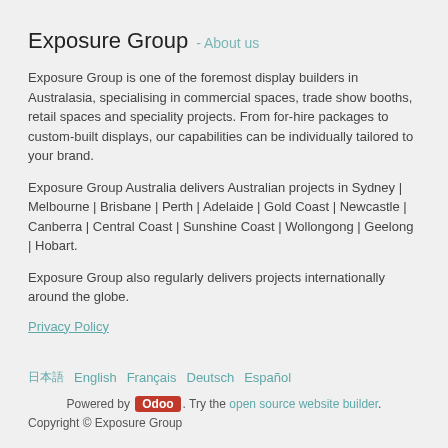Exposure Group - About us
Exposure Group is one of the foremost display builders in Australasia, specialising in commercial spaces, trade show booths, retail spaces and speciality projects. From for-hire packages to custom-built displays, our capabilities can be individually tailored to your brand.
Exposure Group Australia delivers Australian projects in Sydney | Melbourne | Brisbane | Perth | Adelaide | Gold Coast | Newcastle | Canberra | Central Coast | Sunshine Coast | Wollongong | Geelong | Hobart.
Exposure Group also regularly delivers projects internationally around the globe.
Privacy Policy
日本語  English  Français  Deutsch  Español
Powered by Odoo. Try the open source website builder.
Copyright © Exposure Group